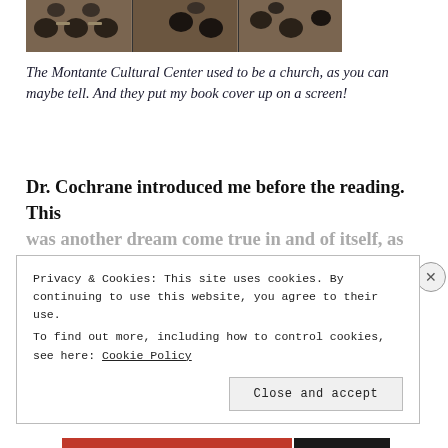[Figure (photo): Rows of empty auditorium chairs in what appears to be a converted church venue — the Montante Cultural Center.]
The Montante Cultural Center used to be a church, as you can maybe tell. And they put my book cover up on a screen!
Dr. Cochrane introduced me before the reading. This was another dream come true in and of itself, as he
Privacy & Cookies: This site uses cookies. By continuing to use this website, you agree to their use.
To find out more, including how to control cookies, see here: Cookie Policy
Close and accept